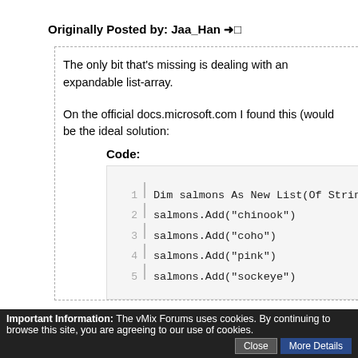Originally Posted by: Jaa_Han →□
The only bit that's missing is dealing with an expandable list-array.
On the official docs.microsoft.com I found this (would be the ideal solution:
Code:
[Figure (screenshot): Code block showing Visual Basic .NET code for creating a list of salmon types: Dim salmons As New List(Of String), salmons.Add("chinook"), salmons.Add("coho"), salmons.Add("pink"), salmons.Add("sockeye")]
And lots of people online using the same structure.
But I couldn't get it to work in vMix. It always "errors" trying to save the sc
Scripting?
Check the note on the page where you get the example from.
Important Information: The vMix Forums uses cookies. By continuing to browse this site, you are agreeing to our use of cookies. | Close | More Details